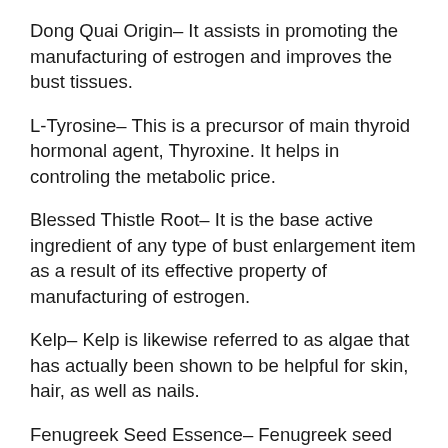Dong Quai Origin– It assists in promoting the manufacturing of estrogen and improves the bust tissues.
L-Tyrosine– This is a precursor of main thyroid hormonal agent, Thyroxine. It helps in controling the metabolic price.
Blessed Thistle Root– It is the base active ingredient of any type of bust enlargement item as a result of its effective property of manufacturing of estrogen.
Kelp– Kelp is likewise referred to as algae that has actually been shown to be helpful for skin, hair, as well as nails.
Fenugreek Seed Essence– Fenugreek seed